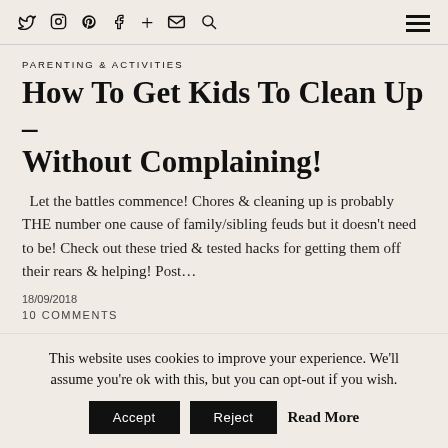Social media icons: twitter, instagram, pinterest, facebook, plus, email, search; hamburger menu
PARENTING & ACTIVITIES
How To Get Kids To Clean Up – Without Complaining!
Let the battles commence! Chores & cleaning up is probably THE number one cause of family/sibling feuds but it doesn't need to be! Check out these tried & tested hacks for getting them off their rears & helping! Post…
18/09/2018
10 COMMENTS
This website uses cookies to improve your experience. We'll assume you're ok with this, but you can opt-out if you wish. Accept Reject Read More